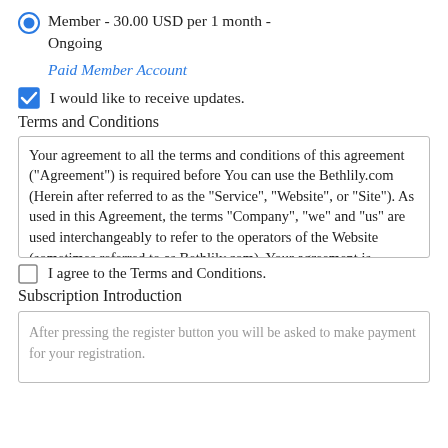Member - 30.00 USD per 1 month - Ongoing
Paid Member Account
I would like to receive updates.
Terms and Conditions
Your agreement to all the terms and conditions of this agreement ("Agreement") is required before You can use the Bethlily.com (Herein after referred to as the "Service", "Website", or "Site"). As used in this Agreement, the terms "Company", "we" and "us" are used interchangeably to refer to the operators of the Website (sometimes referred to as Bethlily.com). Your agreement is required before the operators of Bethlily.com will grant You authorized access to their computer databases to obtain or use copies of photographs, video, text or graphics ("Content") offered in, at or through the Website. If You do not agree to the terms and conditions, set forth below, You will not be authorized to use the Website nor
I agree to the Terms and Conditions.
Subscription Introduction
After pressing the register button you will be asked to make payment for your registration.